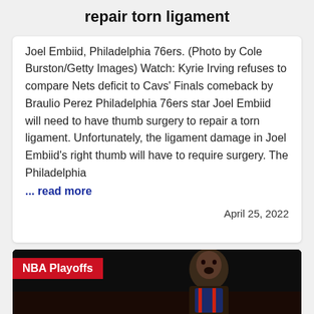repair torn ligament
Joel Embiid, Philadelphia 76ers. (Photo by Cole Burston/Getty Images) Watch: Kyrie Irving refuses to compare Nets deficit to Cavs' Finals comeback by Braulio Perez Philadelphia 76ers star Joel Embiid will need to have thumb surgery to repair a torn ligament. Unfortunately, the ligament damage in Joel Embiid's right thumb will have to require surgery. The Philadelphia ... read more
April 25, 2022
[Figure (photo): NBA Playoffs banner over a dark photo of Joel Embiid in a Philadelphia 76ers uniform, mouth open, looking intense]